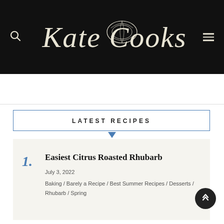Kate Cooks
LATEST RECIPES
1. Easiest Citrus Roasted Rhubarb — July 3, 2022 — Baking / Barely a Recipe / Best Summer Recipes / Desserts / Rhubarb / Spring